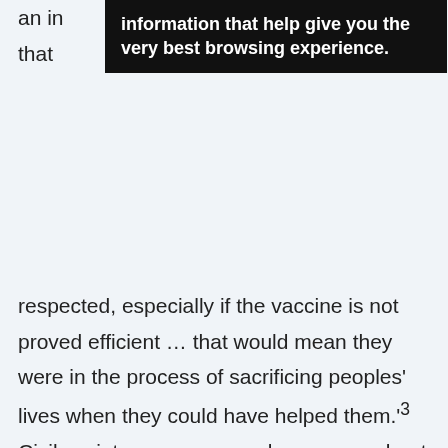[Figure (screenshot): Black tooltip/popup overlay showing text: 'information that help give you the very best browsing experience.']
an in[formation that help give you the very best browsing experience.] that [partially obscured by tooltip] respected, especially if the vaccine is not proved efficient … that would mean they were in the process of sacrificing peoples' lives when they could have helped them.'³ Civil society groups were also uneasy about introducing another trial with potential risks when a vaccine already existed. One activist asked during an interview: Was it not the responsibility of the donor or pharmaceutical company to ensure that there was enough of the first vaccine?⁴ The fact that the trial went ahead after